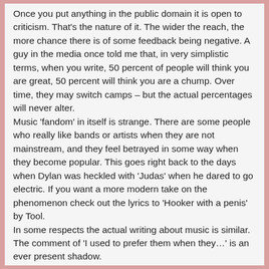Once you put anything in the public domain it is open to criticism. That's the nature of it. The wider the reach, the more chance there is of some feedback being negative. A guy in the media once told me that, in very simplistic terms, when you write, 50 percent of people will think you are great, 50 percent will think you are a chump. Over time, they may switch camps – but the actual percentages will never alter.
Music 'fandom' in itself is strange. There are some people who really like bands or artists when they are not mainstream, and they feel betrayed in some way when they become popular. This goes right back to the days when Dylan was heckled with 'Judas' when he dared to go electric. If you want a more modern take on the phenomenon check out the lyrics to 'Hooker with a penis' by Tool.
In some respects the actual writing about music is similar. The comment of 'I used to prefer them when they…' is an ever present shadow.
I do believe that there is room for blogs, there's also